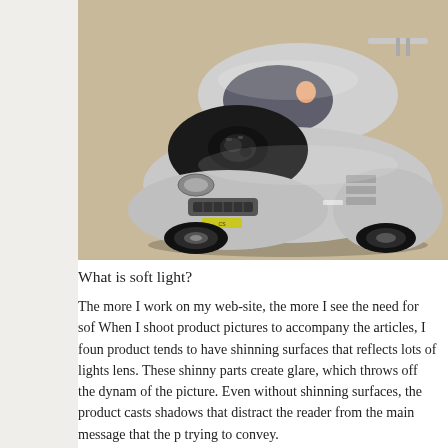[Figure (photo): Close-up photograph of a silver toy/model car (diecast) with hood open, showing engine detail, on a beige fabric background. The car has a sporty body kit and rear spoiler.]
What is soft light?
The more I work on my web-site, the more I see the need for sof When I shoot product pictures to accompany the articles, I foun product tends to have shinning surfaces that reflects lots of lights lens. These shinny parts create glare, which throws off the dyna of the picture. Even without shinning surfaces, the product casts shadows that distract the reader from the main message that the p trying to convey.
There are two ways of eliminating the problem. One way late...